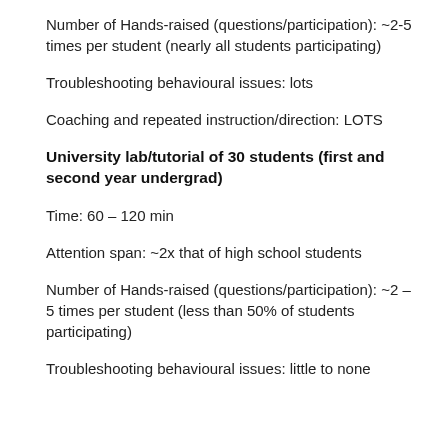Number of Hands-raised (questions/participation): ~2-5 times per student (nearly all students participating)
Troubleshooting behavioural issues: lots
Coaching and repeated instruction/direction: LOTS
University lab/tutorial of 30 students (first and second year undergrad)
Time: 60 – 120 min
Attention span: ~2x that of high school students
Number of Hands-raised (questions/participation): ~2 – 5 times per student (less than 50% of students participating)
Troubleshooting behavioural issues: little to none